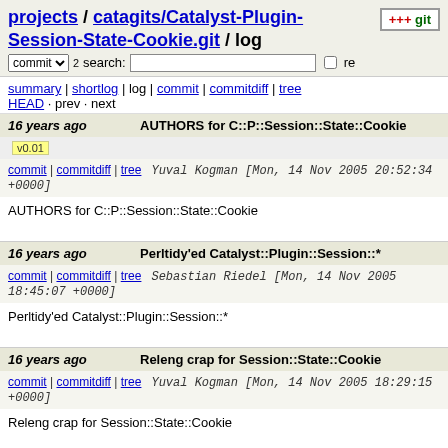projects / catagits/Catalyst-Plugin-Session-State-Cookie.git / log
commit search: re
summary | shortlog | log | commit | commitdiff | tree
HEAD · prev · next
16 years ago   AUTHORS for C::P::Session::State::Cookie   v0.01
commit | commitdiff | tree   Yuval Kogman [Mon, 14 Nov 2005 20:52:34 +0000]
AUTHORS for C::P::Session::State::Cookie
16 years ago   Perltidy'ed Catalyst::Plugin::Session::*
commit | commitdiff | tree   Sebastian Riedel [Mon, 14 Nov 2005 18:45:07 +0000]
Perltidy'ed Catalyst::Plugin::Session::*
16 years ago   Releng crap for Session::State::Cookie
commit | commitdiff | tree   Yuval Kogman [Mon, 14 Nov 2005 18:29:15 +0000]
Releng crap for Session::State::Cookie